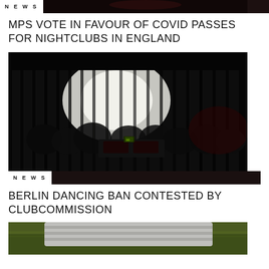NEWS
[Figure (photo): Dark nightclub crowd photo strip at top of page]
MPS VOTE IN FAVOUR OF COVID PASSES FOR NIGHTCLUBS IN ENGLAND
[Figure (photo): Dark nightclub interior with DJ booth and crowd seen through vertical glass panels, dimly lit with red and white lighting]
NEWS
BERLIN DANCING BAN CONTESTED BY CLUBCOMMISSION
[Figure (photo): Partial photo of person lying on grass, striped clothing visible at bottom of page]